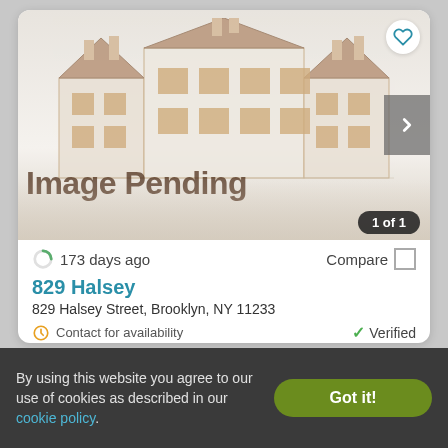[Figure (photo): Image Pending placeholder showing a generic multi-unit building illustration with 'Image Pending' text overlay, a heart/favorite button in the top-right corner, a right-arrow navigation button, and a '1 of 1' counter badge.]
173 days ago
Compare
829 Halsey
829 Halsey Street, Brooklyn, NY 11233
Contact for availability
Verified
By using this website you agree to our use of cookies as described in our cookie policy.